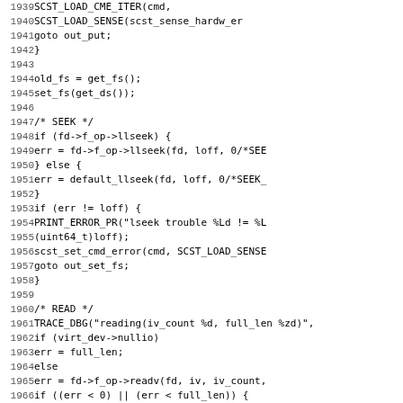[Figure (other): Source code listing with line numbers 1939-1971, showing C code for file seek and read operations including SCST_LOAD_SENSE, get_fs, set_fs, llseek, PRINT_ERROR_PR, TRACE_DBG, and readv calls.]